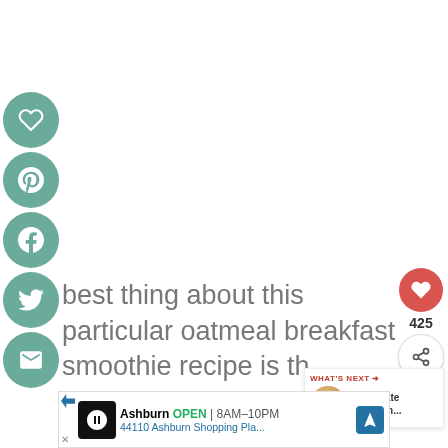[Figure (infographic): Social media sidebar icons: heart/save, Pinterest, Facebook, Twitter, Email — teal circles]
best thing about this particular oatmeal breakfast smoothie recipe is th... e it is healthy, packed with v... protein, and whole grain goodness, it ta...
[Figure (infographic): Right side: red heart button with 425 count, share icon circle]
[Figure (infographic): What's Next promo: Chocolate Pumpkin...]
[Figure (infographic): Ad banner: Ashburn OPEN 8AM-10PM, 44110 Ashburn Shopping Pla...]